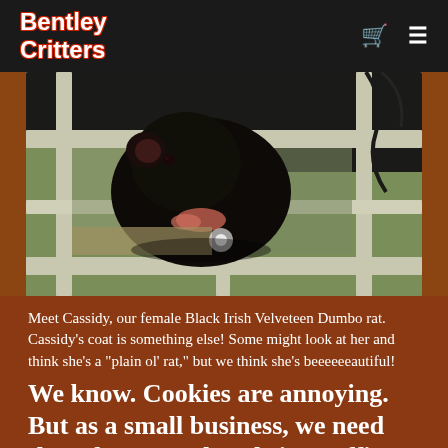Bentley Critters
[Figure (photo): A black rat (Cassidy) peering through white wooden slats of an enclosure, looking down at the camera. The background shows mesh wire and natural outdoor lighting.]
Meet Cassidy, our female Black Irish Velveteen Dumbo rat. Cassidy's coat is something else! Some might look at her and think she's a "plain ol' rat," but we think she's beeeeeeautiful!
We know. Cookies are annoying. But as a small business, we need them for to track website traffic